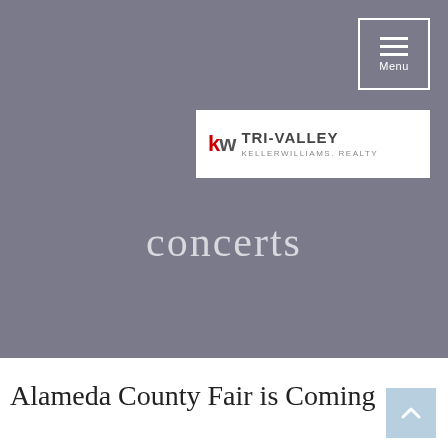[Figure (logo): Navigation menu button with three horizontal lines and 'Menu' text in white, bordered by white rectangle, on gray background]
[Figure (logo): KW Tri-Valley Keller Williams Realty logo on white background]
concerts
[Figure (other): Back to top arrow button in light blue]
Alameda County Fair is Coming